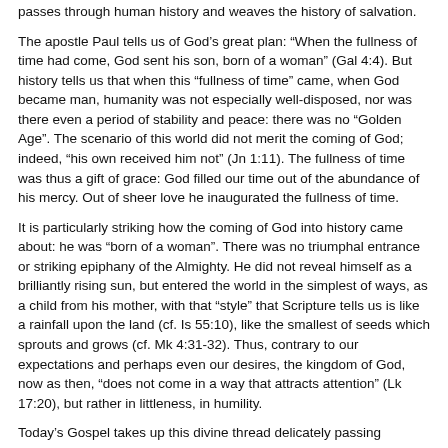From the readings of this Liturgy, a divine thread emerges, one that passes through human history and weaves the history of salvation.
The apostle Paul tells us of God's great plan: “When the fullness of time had come, God sent his son, born of a woman” (Gal 4:4). But history tells us that when this “fullness of time” came, when God became man, humanity was not especially well-disposed, nor was there even a period of stability and peace: there was no “Golden Age”. The scenario of this world did not merit the coming of God; indeed, “his own received him not” (Jn 1:11). The fullness of time was thus a gift of grace: God filled our time out of the abundance of his mercy. Out of sheer love he inaugurated the fullness of time.
It is particularly striking how the coming of God into history came about: he was “born of a woman”. There was no triumphal entrance or striking epiphany of the Almighty. He did not reveal himself as a brilliantly rising sun, but entered the world in the simplest of ways, as a child from his mother, with that “style” that Scripture tells us is like a rainfall upon the land (cf. Is 55:10), like the smallest of seeds which sprouts and grows (cf. Mk 4:31-32). Thus, contrary to our expectations and perhaps even our desires, the kingdom of God, now as then, “does not come in a way that attracts attention” (Lk 17:20), but rather in littleness, in humility.
Today’s Gospel takes up this divine thread delicately passing